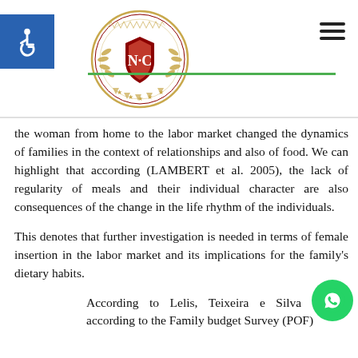NC logo with accessibility icon and navigation hamburger
the woman from home to the labor market changed the dynamics of families in the context of relationships and also of food. We can highlight that according (LAMBERT et al. 2005), the lack of regularity of meals and their individual character are also consequences of the change in the life rhythm of the individuals.
This denotes that further investigation is needed in terms of female insertion in the labor market and its implications for the family's dietary habits.
According to Lelis, Teixeira e Silva (2013), according to the Family budget Survey (POF)